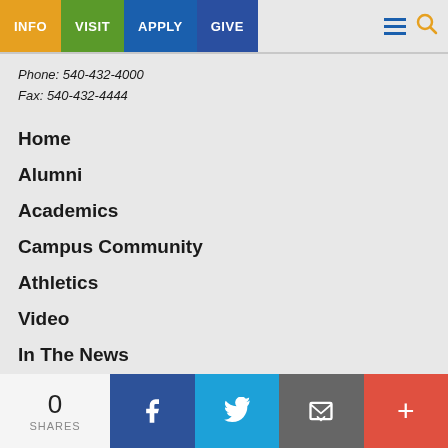INFO | VISIT | APPLY | GIVE
Phone: 540-432-4000
Fax: 540-432-4444
Home
Alumni
Academics
Campus Community
Athletics
Video
In The News
Archive
Subscribe
0 SHARES